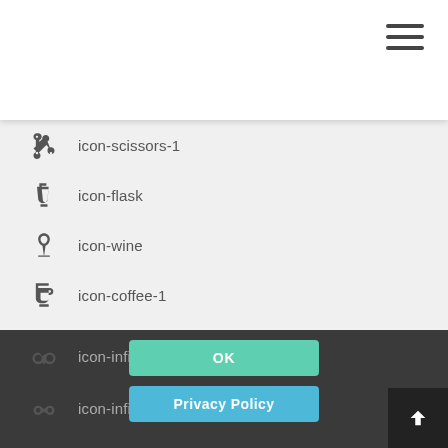[Figure (other): Hamburger menu icon (three horizontal lines) in top-right corner]
icon-scissors-1
icon-flask
icon-wine
icon-coffee-1
icon-beer-1
icon-anchor-outline
icon-anchor-1
icon-puzzle-outline
icon-puzzle-1
icon-tree
icon-calculator
icon-infinity-outline
icon-infinity-1